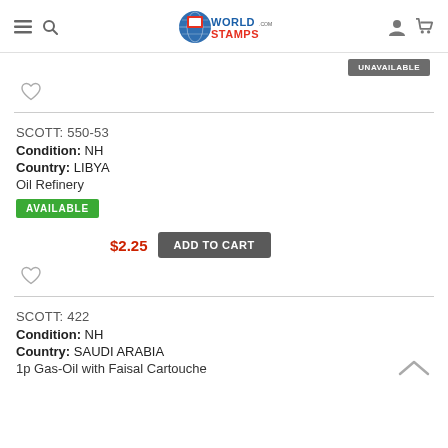WorldStamps.com
UNAVAILABLE
SCOTT: 550-53
Condition: NH
Country: LIBYA
Oil Refinery
AVAILABLE
$2.25 ADD TO CART
SCOTT: 422
Condition: NH
Country: SAUDI ARABIA
1p Gas-Oil with Faisal Cartouche